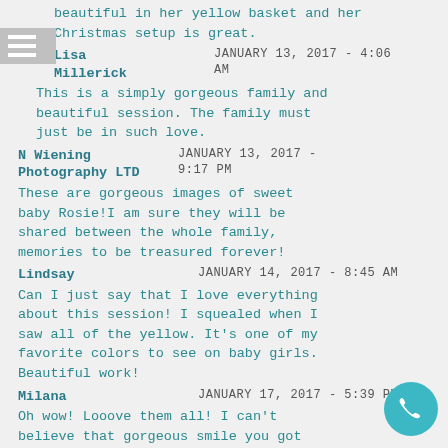beautiful in her yellow basket and her Christmas setup is great.
Lisa Millerick — JANUARY 13, 2017 - 4:06 AM
This is a simply gorgeous family and beautiful session. The family must just be in such love.
N Wiening Photography LTD — JANUARY 13, 2017 - 9:17 PM
These are gorgeous images of sweet baby Rosie!I am sure they will be shared between the whole family, memories to be treasured forever!
Lindsay — JANUARY 14, 2017 - 8:45 AM
Can I just say that I love everything about this session! I squealed when I saw all of the yellow. It's one of my favorite colors to see on baby girls. Beautiful work!
Milana — JANUARY 17, 2017 - 5:39 PM
Oh wow! Looove them all! I can't believe that gorgeous smile you got with the froggy pose! Sooo beautiful
Channon — JANUARY 17, 2017 - 8:55 PM